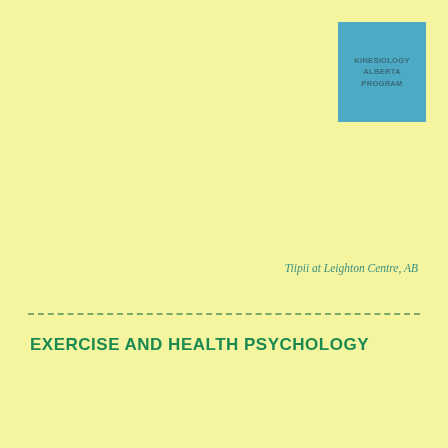[Figure (logo): Blue square logo box with three lines of text in dark teal]
Tiipii at Leighton Centre, AB
EXERCISE AND HEALTH PSYCHOLOGY